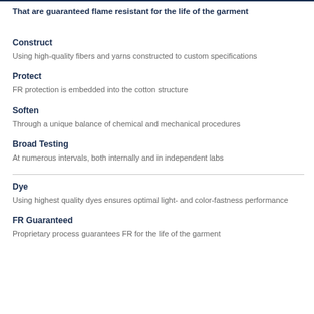That are guaranteed flame resistant for the life of the garment
Construct
Using high-quality fibers and yarns constructed to custom specifications
Protect
FR protection is embedded into the cotton structure
Soften
Through a unique balance of chemical and mechanical procedures
Broad Testing
At numerous intervals, both internally and in independent labs
Dye
Using highest quality dyes ensures optimal light- and color-fastness performance
FR Guaranteed
Proprietary process guarantees FR for the life of the garment